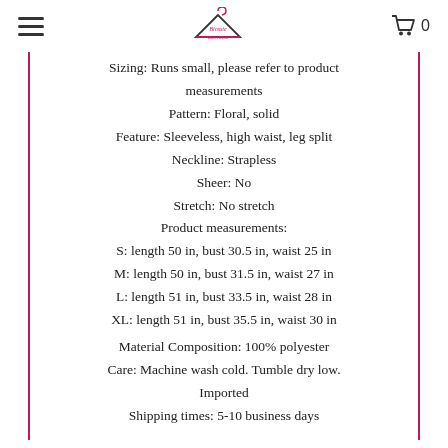≡   [logo: Blossie Boutique]   🛒 0
Sizing: Runs small, please refer to product measurements
Pattern: Floral, solid
Feature: Sleeveless, high waist, leg split
Neckline: Strapless
Sheer: No
Stretch: No stretch
Product measurements:
S: length 50 in, bust 30.5 in, waist 25 in
M: length 50 in, bust 31.5 in, waist 27 in
L: length 51 in, bust 33.5 in, waist 28 in
XL: length 51 in, bust 35.5 in, waist 30 in
Material Composition: 100% polyester
Care: Machine wash cold. Tumble dry low.
Imported
Shipping times: 5-10 business days